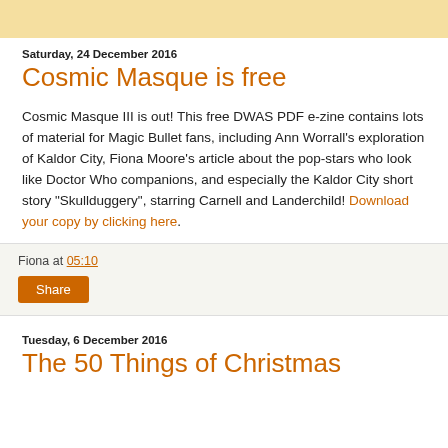Saturday, 24 December 2016
Cosmic Masque is free
Cosmic Masque III is out! This free DWAS PDF e-zine contains lots of material for Magic Bullet fans, including Ann Worrall's exploration of Kaldor City, Fiona Moore's article about the pop-stars who look like Doctor Who companions, and especially the Kaldor City short story "Skullduggery", starring Carnell and Landerchild! Download your copy by clicking here.
Fiona at 05:10
Share
Tuesday, 6 December 2016
The 50 Things of Christmas